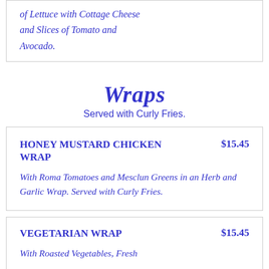of Lettuce with Cottage Cheese and Slices of Tomato and Avocado.
Wraps
Served with Curly Fries.
HONEY MUSTARD CHICKEN WRAP    $15.45
With Roma Tomatoes and Mesclun Greens in an Herb and Garlic Wrap. Served with Curly Fries.
VEGETARIAN WRAP    $15.45
With Roasted Vegetables, Fresh